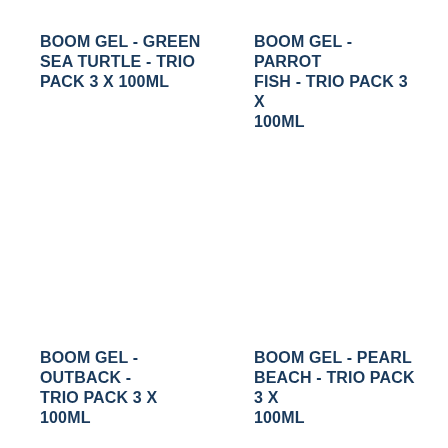BOOM GEL - GREEN SEA TURTLE - TRIO PACK 3 X 100ML
BOOM GEL - PARROT FISH - TRIO PACK 3 X 100ML
BOOM GEL - OUTBACK - TRIO PACK 3 X 100ML
BOOM GEL - PEARL BEACH - TRIO PACK 3 X 100ML